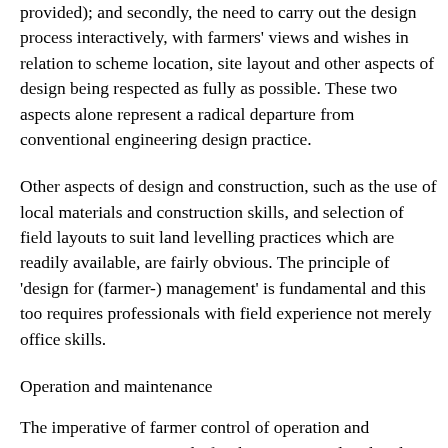provided); and secondly, the need to carry out the design process interactively, with farmers' views and wishes in relation to scheme location, site layout and other aspects of design being respected as fully as possible. These two aspects alone represent a radical departure from conventional engineering design practice.
Other aspects of design and construction, such as the use of local materials and construction skills, and selection of field layouts to suit land levelling practices which are readily available, are fairly obvious. The principle of 'design for (farmer-) management' is fundamental and this too requires professionals with field experience not merely office skills.
Operation and maintenance
The imperative of farmer control of operation and maintenance is not merely for the reasons outlined earlier in this paper. There is a pragmatic imperative too. Increasingly Governments are recognising their own inability, for financial or other resource reasons, to manage and maintain an increasing acreage of irrigated agriculture